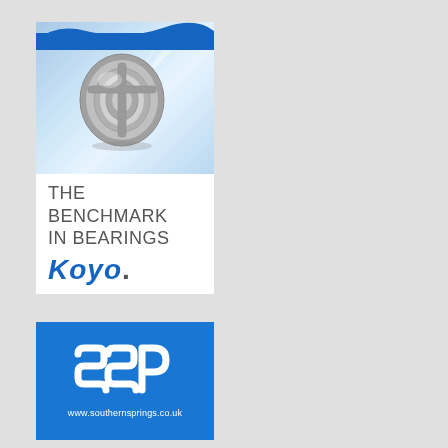[Figure (illustration): Advertisement for Koyo bearings featuring a metallic ball/roller bearing component on a blue gradient background, with text 'THE BENCHMARK IN BEARINGS' and 'Koyo.' logo]
[Figure (logo): SSP (Southern Springs) advertisement with blue background, white SSP logo letters, and website URL www.southernsprings.co.uk]